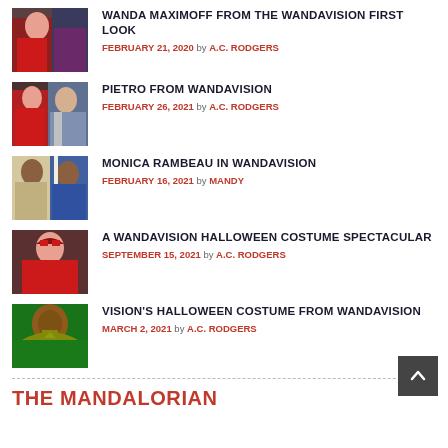[Figure (photo): Thumbnail image of Wanda Maximoff in red costume]
WANDA MAXIMOFF FROM THE WANDAVISION FIRST LOOK
FEBRUARY 21, 2020 by A.C. RODGERS
[Figure (photo): Thumbnail image showing Pietro from WandaVision]
PIETRO FROM WANDAVISION
FEBRUARY 26, 2021 by A.C. RODGERS
[Figure (photo): Thumbnail image of Monica Rambeau in WandaVision]
MONICA RAMBEAU IN WANDAVISION
FEBRUARY 16, 2021 by MANDY
[Figure (photo): Thumbnail image of WandaVision Halloween costume spectacular]
A WANDAVISION HALLOWEEN COSTUME SPECTACULAR
SEPTEMBER 15, 2021 by A.C. RODGERS
[Figure (photo): Thumbnail image of Vision's Halloween costume from WandaVision - green and yellow costume]
VISION'S HALLOWEEN COSTUME FROM WANDAVISION
MARCH 2, 2021 by A.C. RODGERS
THE MANDALORIAN